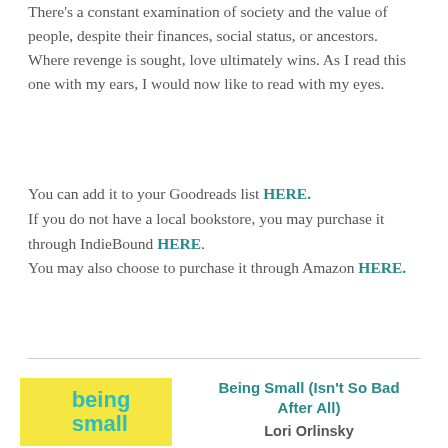There's a constant examination of society and the value of people, despite their finances, social status, or ancestors. Where revenge is sought, love ultimately wins. As I read this one with my ears, I would now like to read with my eyes.
You can add it to your Goodreads list HERE. If you do not have a local bookstore, you may purchase it through IndieBound HERE. You may also choose to purchase it through Amazon HERE.
[Figure (illustration): Book cover for 'Being Small (Isn't So Bad After All)' showing yellow background with teal/cyan text reading 'being small']
Being Small (Isn't So Bad After All)
Lori Orlinsky